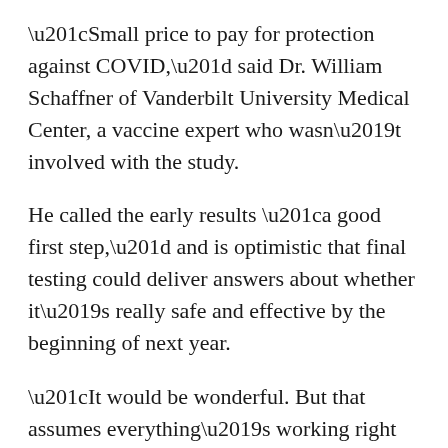“Small price to pay for protection against COVID,” said Dr. William Schaffner of Vanderbilt University Medical Center, a vaccine expert who wasn’t involved with the study.
He called the early results “a good first step,” and is optimistic that final testing could deliver answers about whether it’s really safe and effective by the beginning of next year.
“It would be wonderful. But that assumes everything’s working right on schedule,” Schaffner cautioned.
And Tuesday’s results only included younger adults. The first-step testing later was expanded to include dozens of older adults, the age group most at risk